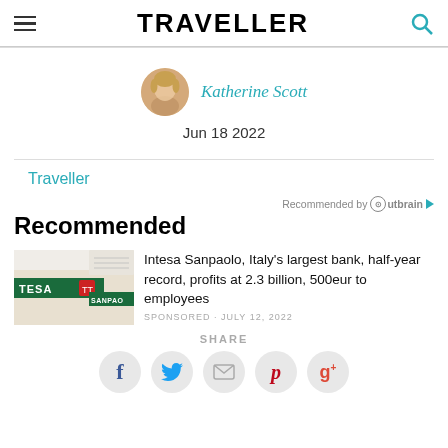TRAVELLER
Katherine Scott
Jun 18 2022
Traveller
Recommended by Outbrain
Recommended
Intesa Sanpaolo, Italy's largest bank, half-year record, profits at 2.3 billion, 500eur to employees
SHARE